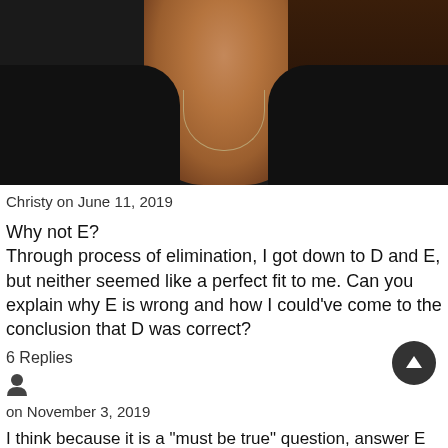[Figure (photo): Close-up photo of a woman with dark hair wearing a dark jacket and a silver necklace, looking slightly off-camera.]
Christy on June 11, 2019
Why not E?
Through process of elimination, I got down to D and E, but neither seemed like a perfect fit to me. Can you explain why E is wrong and how I could've come to the conclusion that D was correct?
6 Replies
on November 3, 2019
I think because it is a "must be true" question, answer E